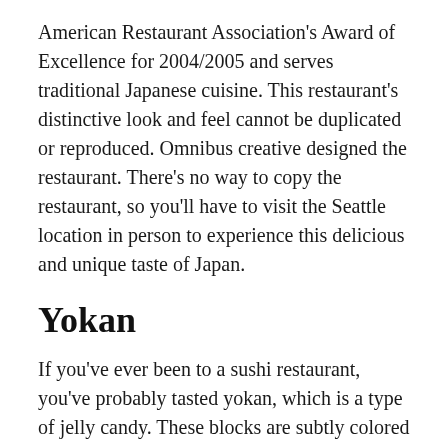American Restaurant Association's Award of Excellence for 2004/2005 and serves traditional Japanese cuisine. This restaurant's distinctive look and feel cannot be duplicated or reproduced. Omnibus creative designed the restaurant. There's no way to copy the restaurant, so you'll have to visit the Seattle location in person to experience this delicious and unique taste of Japan.
Yokan
If you've ever been to a sushi restaurant, you've probably tasted yokan, which is a type of jelly candy. These blocks are subtly colored and made from red bean paste, agar, sugar, and vanilla extract. Regardless of where you've had yokan before, you may not be familiar with its